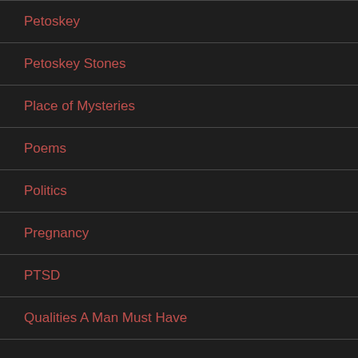Petoskey
Petoskey Stones
Place of Mysteries
Poems
Politics
Pregnancy
PTSD
Qualities A Man Must Have